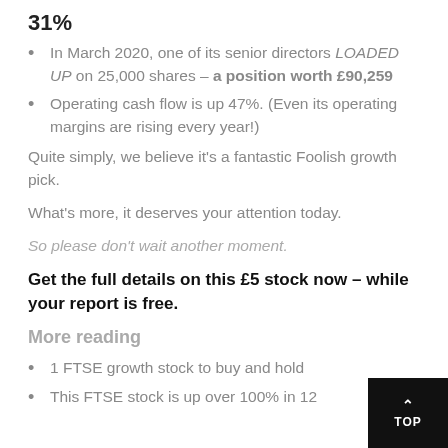31%
In March 2020, one of its senior directors LOADED UP on 25,000 shares – a position worth £90,259
Operating cash flow is up 47%. (Even its operating margins are rising every year!)
Quite simply, we believe it's a fantastic Foolish growth pick.
What's more, it deserves your attention today.
So please don't wait another moment.
Get the full details on this £5 stock now – while your report is free.
More reading
1 FTSE growth stock to buy and hold
This FTSE stock is up over 100% in 12